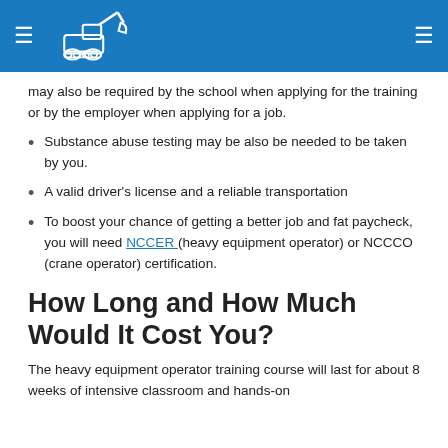≡ [logo] ≡
may also be required by the school when applying for the training or by the employer when applying for a job.
Substance abuse testing may be also be needed to be taken by you.
A valid driver's license and a reliable transportation
To boost your chance of getting a better job and fat paycheck, you will need NCCER (heavy equipment operator) or NCCCO (crane operator) certification.
How Long and How Much Would It Cost You?
The heavy equipment operator training course will last for about 8 weeks of intensive classroom and hands-on